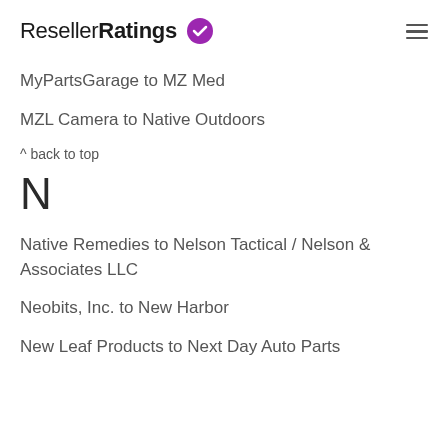ResellerRatings
MyPartsGarage to MZ Med
MZL Camera to Native Outdoors
^ back to top
N
Native Remedies to Nelson Tactical / Nelson & Associates LLC
Neobits, Inc. to New Harbor
New Leaf Products to Next Day Auto Parts